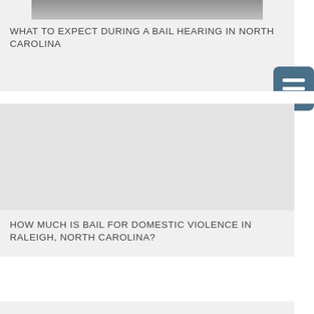[Figure (photo): Partial photo of a dark object on light background, cropped at top]
WHAT TO EXPECT DURING A BAIL HEARING IN NORTH CAROLINA
[Figure (photo): Light gray placeholder image for second article card]
HOW MUCH IS BAIL FOR DOMESTIC VIOLENCE IN RALEIGH, NORTH CAROLINA?